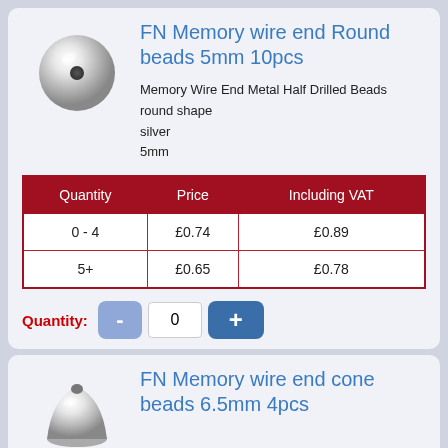[Figure (photo): Silver round bead, 5mm, metallic sphere with hole]
FN Memory wire end Round beads 5mm 10pcs
Memory Wire End Metal Half Drilled Beads
round shape
silver
5mm
| Quantity | Price | Including VAT |
| --- | --- | --- |
| 0 - 4 | £0.74 | £0.89 |
| 5+ | £0.65 | £0.78 |
Quantity: - 0 +
[Figure (photo): Silver cone bead, 6.5mm]
FN Memory wire end cone beads 6.5mm 4pcs